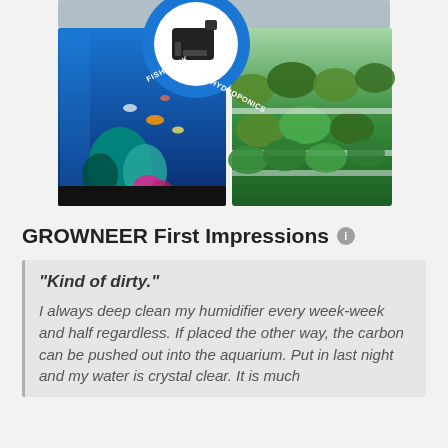[Figure (photo): Product composite image showing a water pump in a blue circle in the center, with a fish tank (aquarium with blue water, green and pink plants, fish) on the left and a hydroponics lettuce garden on the right. Labels say FISH TANK and HYDROPONICS on the blue circle.]
GROWNEER First Impressions
"Kind of dirty." I always deep clean my humidifier every week-week and half regardless. If placed the other way, the carbon can be pushed out into the aquarium. Put in last night and my water is crystal clear. It is much